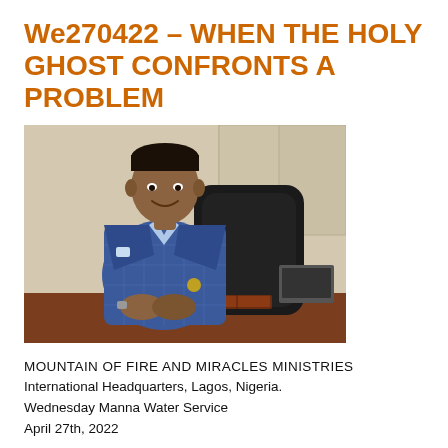We270422 – WHEN THE HOLY GHOST CONFRONTS A PROBLEM
[Figure (photo): Portrait photo of a man in a blue plaid blazer seated at a desk with a Bible, in front of a black leather chair and light-colored wall panels.]
MOUNTAIN OF FIRE AND MIRACLES MINISTRIES
International Headquarters, Lagos, Nigeria.
Wednesday Manna Water Service
April 27th, 2022